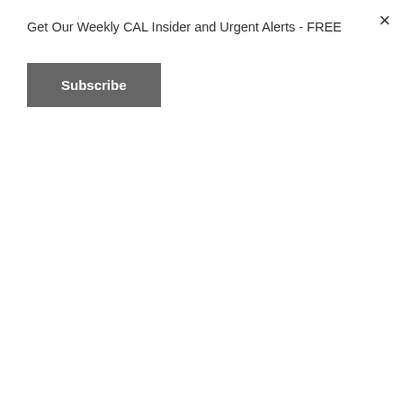Get Our Weekly CAL Insider and Urgent Alerts - FREE
Subscribe
“At churches where pastors aren't teaching a Biblical worldview, we are seeing lay people coming to the forefront saying 'we want to lead,' and at the churches where the pastors do 'get it' they are eager to have their lay people come alongside them and support them,” Howse said.
The Oct. 11 event in Wilmington is free of charge, but seating is limited and registration is required at www.worldviewweekendrally.com.